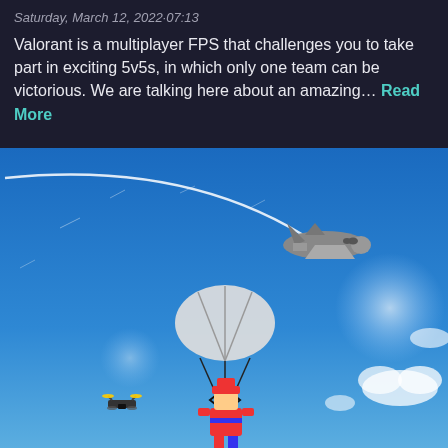Saturday, March 12, 2022·07:13
Valorant is a multiplayer FPS that challenges you to take part in exciting 5v5s, in which only one team can be victorious. We are talking here about an amazing... Read More
[Figure (illustration): Animated game screenshot showing a blue sky with a gray airplane flying on a curved white trail. Below the plane, a cartoon character with a white parachute is descending. The character wears red and blue clothing. A small drone/vehicle is visible to the lower left.]